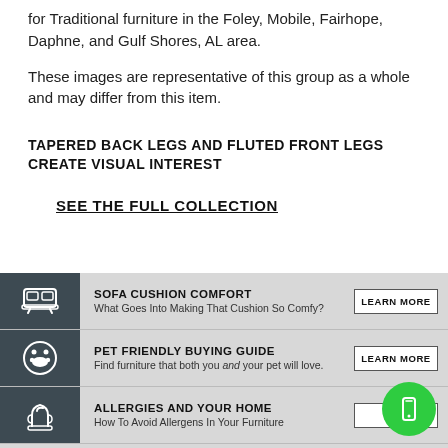for Traditional furniture in the Foley, Mobile, Fairhope, Daphne, and Gulf Shores, AL area.
These images are representative of this group as a whole and may differ from this item.
TAPERED BACK LEGS AND FLUTED FRONT LEGS CREATE VISUAL INTEREST
SEE THE FULL COLLECTION
[Figure (infographic): Promotional info banner with three rows: Sofa Cushion Comfort, Pet Friendly Buying Guide, Allergies and Your Home — each with icon, description, and LEARN MORE button. A green mobile button overlaps the bottom right corner.]